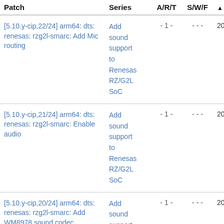| Patch | Series | A/R/T | S/W/F | Date |
| --- | --- | --- | --- | --- |
| [5.10.y-cip,22/24] arm64: dts: renesas: rzg2l-smarc: Add Mic routing | Add sound support to Renesas RZ/G2L SoC | - 1 - | - - - | 2022-0 |
| [5.10.y-cip,21/24] arm64: dts: renesas: rzg2l-smarc: Enable audio | Add sound support to Renesas RZ/G2L SoC | - 1 - | - - - | 2022-0 |
| [5.10.y-cip,20/24] arm64: dts: renesas: rzg2l-smarc: Add WM8978 sound codec | Add sound support to Renesas RZ/G2L SoC | - 1 - | - - - | 2022-0 |